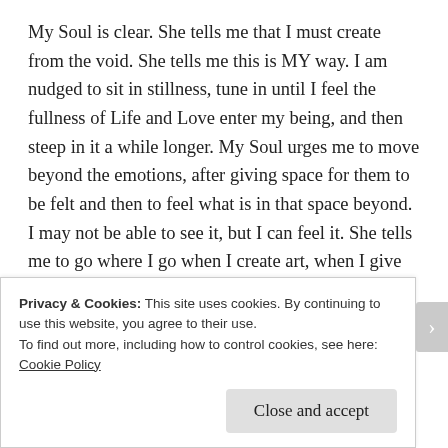My Soul is clear. She tells me that I must create from the void. She tells me this is MY way. I am nudged to sit in stillness, tune in until I feel the fullness of Life and Love enter my being, and then steep in it a while longer. My Soul urges me to move beyond the emotions, after giving space for them to be felt and then to feel what is in that space beyond. I may not be able to see it, but I can feel it. She tells me to go where I go when I create art, when I give form to the formless beauty of Soul, Spirit, Love. She reminds me that this is not separate from the world
Privacy & Cookies: This site uses cookies. By continuing to use this website, you agree to their use.
To find out more, including how to control cookies, see here: Cookie Policy
Close and accept